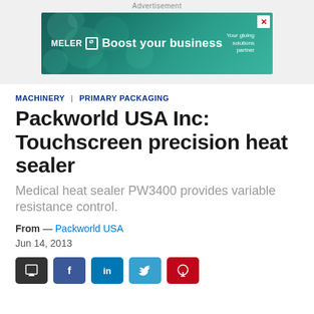[Figure (other): Advertisement banner for MELER gluing solutions — teal bokeh background, text: MELER [logo], Boost your business, Your gluing solutions partner, with close X button]
MACHINERY | PRIMARY PACKAGING
Packworld USA Inc: Touchscreen precision heat sealer
Medical heat sealer PW3400 provides variable resistance control.
From — Packworld USA
Jun 14, 2013
[Figure (other): Social sharing buttons row: print (dark), Facebook (blue), LinkedIn (teal-blue), Twitter (light blue), Pinterest (red)]